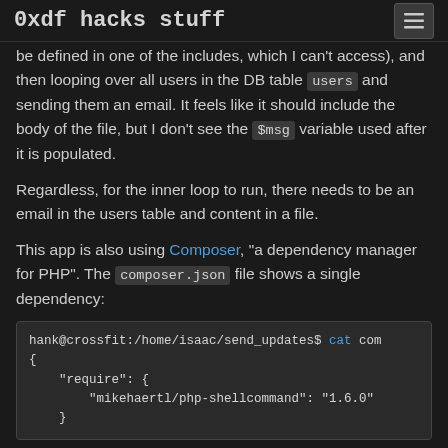0xdf hacks stuff
be defined in one of the includes, which I can't access), and then looping over all users in the DB table users and sending them an email. It feels like it should include the body of the file, but I don't see the $msg variable used after it is populated.
Regardless, for the inner loop to run, there needs to be an email in the users table and content in a file.
This app is also using Composer, "a dependency manager for PHP". The composer.json file shows a single dependency:
hank@crossfit:/home/isaac/send_updates$ cat com
{
    "require": {
        "mikehaertl/php-shellcommand": "1.6.0"
    }